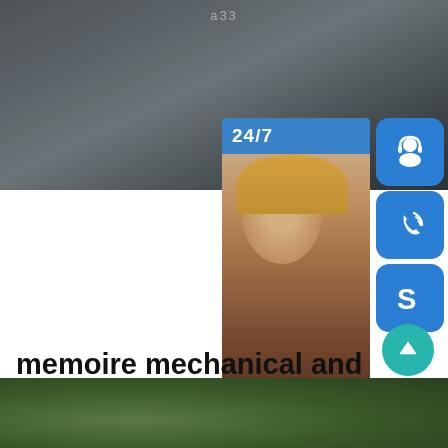a33
[Figure (screenshot): Dark gray/teal abstract background photo with blurred shapes, serving as page header background]
[Figure (infographic): Customer support widget overlay showing: 24/7 support panel with woman wearing headset, three blue rounded icon buttons (customer service icon, phone/call icon, Skype S icon), and an 'online live' button. Text includes 'PROVIDE' and 'Empowering Cu[stomers]']
memoire mechanical and physical properties of s185 a33
[Figure (photo): Dark green foliage/grass photo at bottom of page]